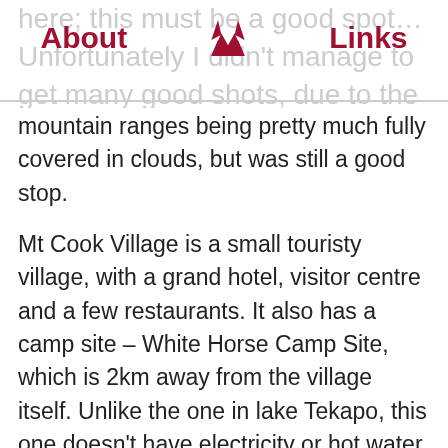here; this must be a good spot… Unfortunately I didn't manage to get many good shots, due to the
mountain ranges being pretty much fully covered in clouds, but was still a good stop.
Mt Cook Village is a small touristy village, with a grand hotel, visitor centre and a few restaurants. It also has a camp site – White Horse Camp Site, which is 2km away from the village itself. Unlike the one in lake Tekapo, this one doesn't have electricity or hot water. That proved to be a rather big issue, especially because I only had one battery for my new camera, which would die after 1 day of shooting and a night of freezing in the cold.